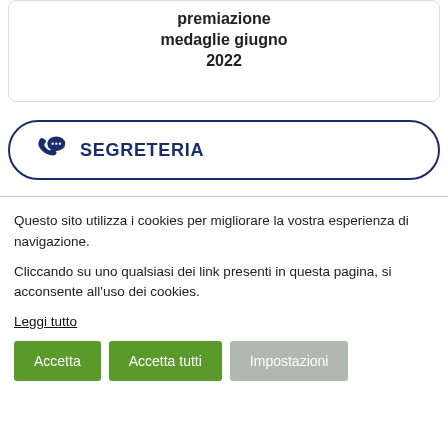premiazione medaglie giugno 2022
[Figure (other): SEGRETERIA button with phone/chat icon, dark navy blue rounded pill border]
Questo sito utilizza i cookies per migliorare la vostra esperienza di navigazione.
Cliccando su uno qualsiasi dei link presenti in questa pagina, si acconsente all'uso dei cookies.
Leggi tutto
Accetta | Accetta tutti | Impostazioni